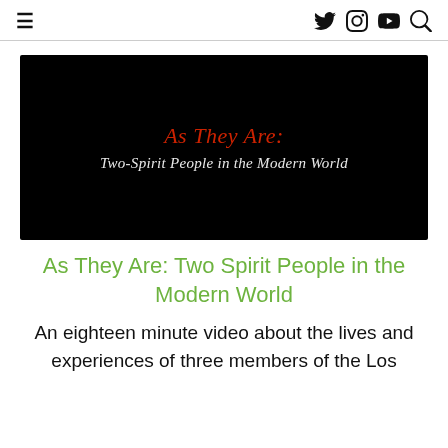≡  [Twitter] [Instagram] [YouTube] [Search]
[Figure (screenshot): Black video thumbnail with red italic title 'As They Are:' and white italic subtitle 'Two-Spirit People in the Modern World']
As They Are: Two Spirit People in the Modern World
An eighteen minute video about the lives and experiences of three members of the Los